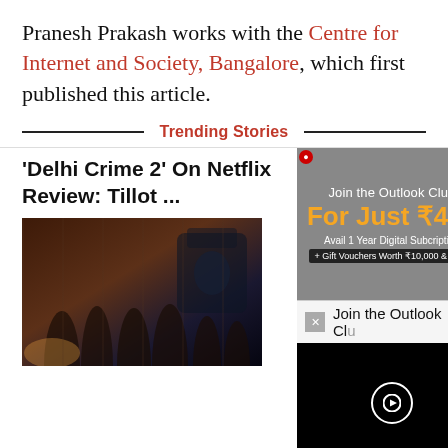Pranesh Prakash works with the Centre for Internet and Society, Bangalore, which first published this article.
Trending Stories
'Delhi Crime 2' On Netflix Review: Tillot ...
[Figure (photo): Promotional image for Delhi Crime 2 on Netflix showing cast members in police/military uniforms against a dark background]
[Figure (screenshot): Advertisement for Outlook Club subscription: For Just ₹499, Avail 1 Year Digital Subscription + Gift Vouchers Worth ₹10,000 & More]
[Figure (screenshot): Popup showing Join the Outlook Club with a dark video player area containing a circular play button]
Contrary to what Mr. Sibal's recent hand...